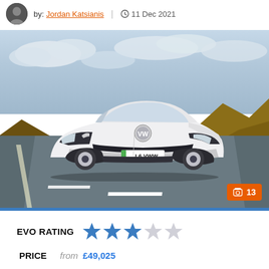by: Jordan Katsianis | 11 Dec 2021
[Figure (photo): White Volkswagen ID.4 electric SUV driving on a road with moorland scenery, registration plate L6 VWW, with a photo count badge showing 13]
EVO RATING ★★★☆☆
PRICE from £49,025